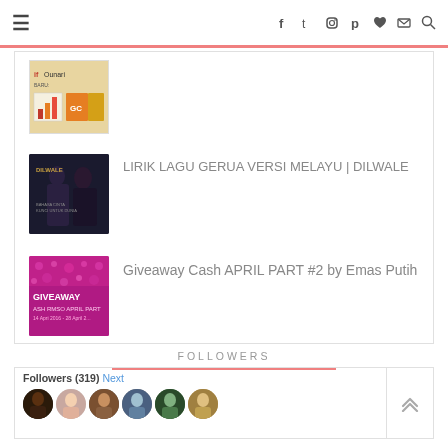≡ (navigation icons: f t Instagram Pinterest heart mail search)
[Figure (screenshot): Partial infographic thumbnail with bar chart and product images]
[Figure (photo): Dilwale movie promotional image with two figures]
LIRIK LAGU GERUA VERSI MELAYU | DILWALE
[Figure (photo): Giveaway Cash April Part #2 pink promotional image with text GIVEAWAY CASH RMSO APRIL PART]
Giveaway Cash APRIL PART #2 by Emas Putih
FOLLOWERS
Followers (319) Next
[Figure (photo): Row of 6 follower avatar thumbnails]